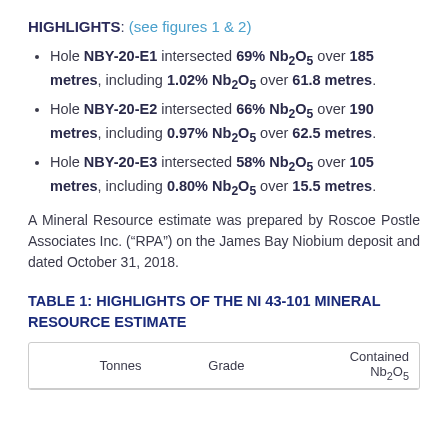HIGHLIGHTS: (see figures 1 & 2)
Hole NBY-20-E1 intersected 69% Nb2O5 over 185 metres, including 1.02% Nb2O5 over 61.8 metres.
Hole NBY-20-E2 intersected 66% Nb2O5 over 190 metres, including 0.97% Nb2O5 over 62.5 metres.
Hole NBY-20-E3 intersected 58% Nb2O5 over 105 metres, including 0.80% Nb2O5 over 15.5 metres.
A Mineral Resource estimate was prepared by Roscoe Postle Associates Inc. (“RPA”) on the James Bay Niobium deposit and dated October 31, 2018.
TABLE 1: HIGHLIGHTS OF THE NI 43-101 MINERAL RESOURCE ESTIMATE
|  | Tonnes | Grade | Contained Nb2O5 |
| --- | --- | --- | --- |